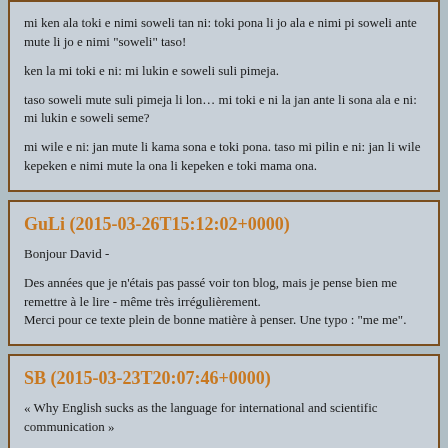mi ken ala toki e nimi soweli tan ni: toki pona li jo ala e nimi pi soweli ante mute li jo e nimi "soweli" taso!

ken la mi toki e ni: mi lukin e soweli suli pimeja.

taso soweli mute suli pimeja li lon… mi toki e ni la jan ante li sona ala e ni: mi lukin e soweli seme?

mi wile e ni: jan mute li kama sona e toki pona. taso mi pilin e ni: jan li wile kepeken e nimi mute la ona li kepeken e toki mama ona.
GuLi (2015-03-26T15:12:02+0000)
Bonjour David -

Des années que je n'étais pas passé voir ton blog, mais je pense bien me remettre à le lire - même très irrégulièrement.
Merci pour ce texte plein de bonne matière à penser. Une typo : "me me".
SB (2015-03-23T20:07:46+0000)
« Why English sucks as the language for international and scientific communication »